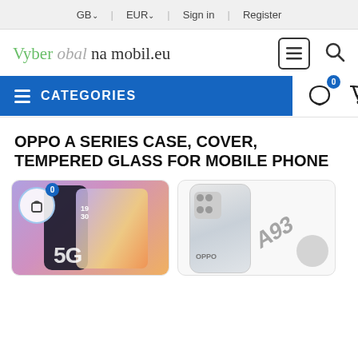GB | EUR | Sign in | Register
[Figure (logo): Vyber obal na mobil.eu logo with menu and search icons]
CATEGORIES
OPPO A SERIES CASE, COVER, TEMPERED GLASS FOR MOBILE PHONE
[Figure (photo): OPPO 5G phone product card with shopping cart icon and badge 0]
[Figure (photo): OPPO A93 phone product card with gray circle button]